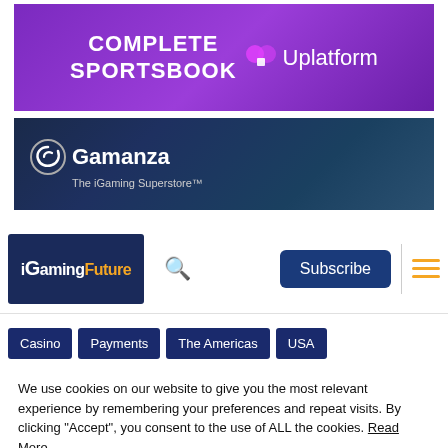[Figure (illustration): Uplatform Complete Sportsbook advertisement banner with purple gradient background]
[Figure (logo): Gamanza – The iGaming Superstore advertisement banner with dark blue background]
[Figure (illustration): iGamingFuture navigation bar with logo, search icon, Subscribe button, and hamburger menu]
Casino
Payments
The Americas
USA
We use cookies on our website to give you the most relevant experience by remembering your preferences and repeat visits. By clicking “Accept”, you consent to the use of ALL the cookies. Read More
ACCEPT
REJECT